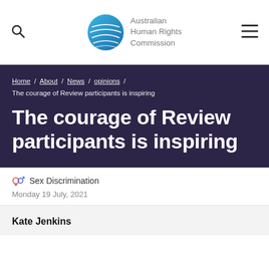Australian Human Rights Commission
Home / About / News / opinions / The courage of Review participants is inspiring
The courage of Review participants is inspiring
Sex Discrimination
Monday 19 July, 2021
Kate Jenkins